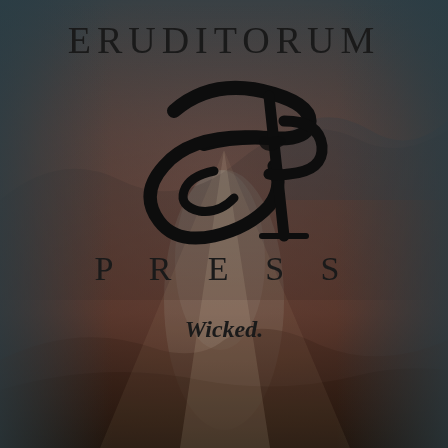[Figure (logo): Eruditorum Press book cover/logo page. Dark teal and warm brown gradient background with a classical painting (figure in white dress, mountainous landscape). Large calligraphic 'EP' monogram logo in black. Text reads ERUDITORUM at top, PRESS below logo, and italic bold 'Wicked.' near bottom.]
ERUDITORUM
PRESS
Wicked.